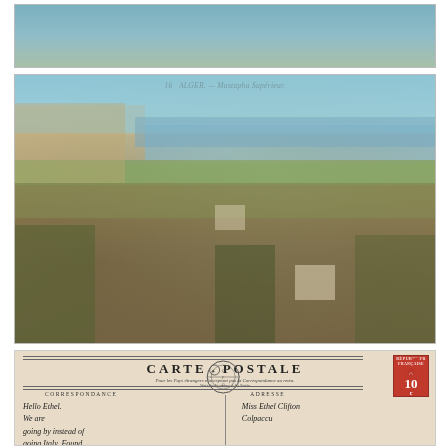[Figure (photo): Partial top strip of a colorized postcard showing sky and distant landscape, appears to be the top portion of an Algiers panoramic scene]
[Figure (photo): Colorized postcard panoramic view of Alger (Algiers) - Mustapha Supérieur, showing a hillside neighborhood with white buildings and red roofs, green fields, the bay and sea in the background, with the caption '16 ALGER. — Mustapha Supérieur.' printed near the top]
[Figure (photo): Back of a French postcard (Carte Postale) with red 10c stamp, circular postmark, header lines, CORRESPONDANCE and ADRESSE columns, handwritten message on left beginning 'Hello Ethel. We are going by instead of going Italy. Found your letter awaiting...' and recipient address on right 'Miss Ethel Clifton, Colpaccu']